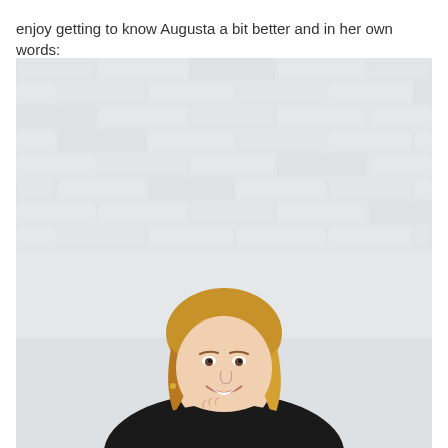enjoy getting to know Augusta a bit better and in her own words:
[Figure (photo): Portrait photo of a smiling woman with short blonde/auburn hair wearing a black top, posed with her chin resting on her hand against a light grey brick wall background.]